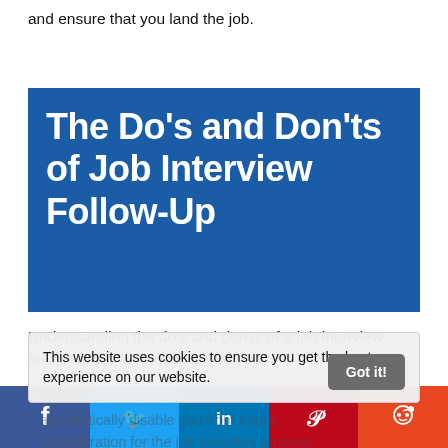and ensure that you land the job.
[Figure (illustration): Blue banner with bold white text reading: The Do's and Don'ts of Job Interview Follow-Up]
Understanding the do's and don'ts of a job interview follow-up will help ensure that you
don't make a critical mistake that will automatically disable you from future consideration for the job selection process.
This website uses cookies to ensure you get the best experience on our website.
[Figure (infographic): Social sharing bar with Facebook, Twitter, LinkedIn, Pinterest, and Reddit buttons]